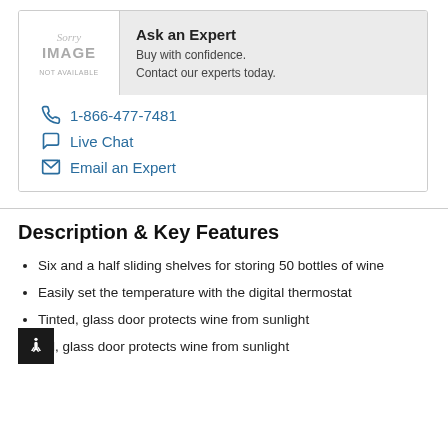[Figure (illustration): Sorry Image Not Available placeholder graphic with grey watermark text]
Ask an Expert
Buy with confidence. Contact our experts today.
1-866-477-7481
Live Chat
Email an Expert
Description & Key Features
Six and a half sliding shelves for storing 50 bottles of wine
Easily set the temperature with the digital thermostat
Tinted, glass door protects wine from sunlight
Bezel-free door that changes cabin inside...